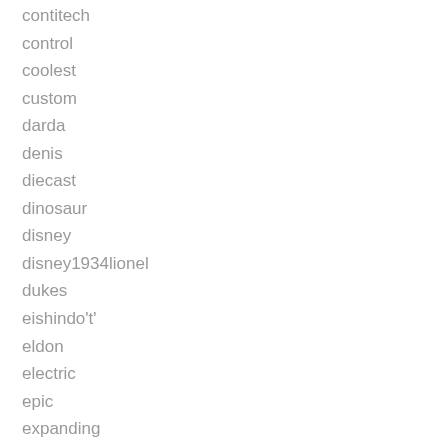contitech
control
coolest
custom
darda
denis
diecast
dinosaur
disney
disney1934lionel
dukes
eishindo't'
eldon
electric
epic
expanding
experiment
factory